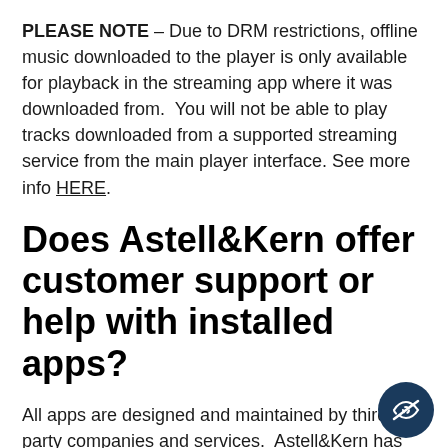PLEASE NOTE – Due to DRM restrictions, offline music downloaded to the player is only available for playback in the streaming app where it was downloaded from.  You will not be able to play tracks downloaded from a supported streaming service from the main player interface. See more info HERE.
Does Astell&Kern offer customer support or help with installed apps?
All apps are designed and maintained by third party companies and services.  Astell&Kern has no control over apps, features, or bugs in a